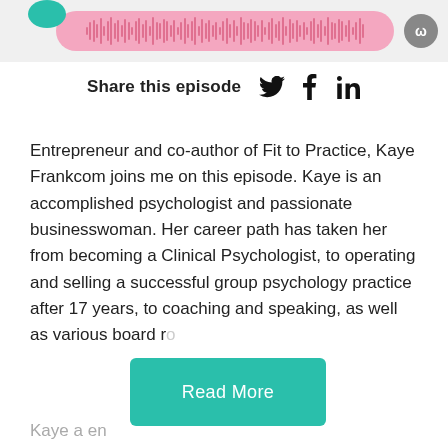[Figure (screenshot): Pink audio waveform player bar with a grey circular avatar/button on the right]
Share this episode
[Figure (infographic): Twitter, Facebook, and LinkedIn social share icons]
Entrepreneur and co-author of Fit to Practice, Kaye Frankcom joins me on this episode. Kaye is an accomplished psychologist and passionate businesswoman. Her career path has taken her from becoming a Clinical Psychologist, to operating and selling a successful group psychology practice after 17 years, to coaching and speaking, as well as various board r
Read More
Kaye a en